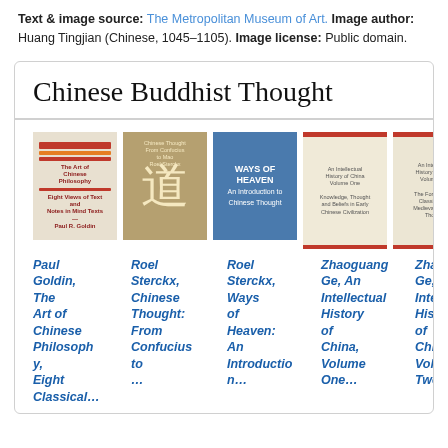Text & image source: The Metropolitan Museum of Art. Image author: Huang Tingjian (Chinese, 1045–1105). Image license: Public domain.
Chinese Buddhist Thought
[Figure (illustration): Row of five book covers for Chinese philosophy/history books, with a scroll-up button on the right.]
Paul Goldin, The Art of Chinese Philosophy, Eight Classical... | Roel Sterckx, Chinese Thought: From Confucius to... | Roel Sterckx, Ways of Heaven: An Introduction... | Zhaoguan Ge, An Intellectual History of China, Volume One... | Zhaoguan Ge, An Intellectual History of China, Volume Two...